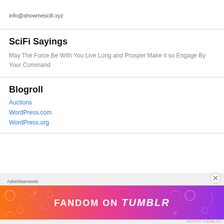info@showmescifi.xyz
SciFi Sayings
May The Force Be With You Live Long and Prosper Make it so Engage By Your Command
Blogroll
Auctions
WordPress.com
WordPress.org
[Figure (infographic): Fandom on Tumblr advertisement banner with colorful gradient background (orange to purple) and white text]
Advertisements